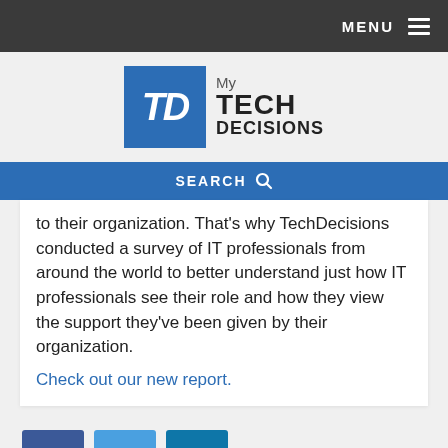MENU
[Figure (logo): My TechDecisions logo — blue square with TD letters, text 'My TECH DECISIONS']
SEARCH
to their organization. That’s why TechDecisions conducted a survey of IT professionals from around the world to better understand just how IT professionals see their role and how they view the support they’ve been given by their organization.
Check out our new report.
[Figure (infographic): Three social media share buttons: Facebook (f), Twitter (bird), LinkedIn (in)]